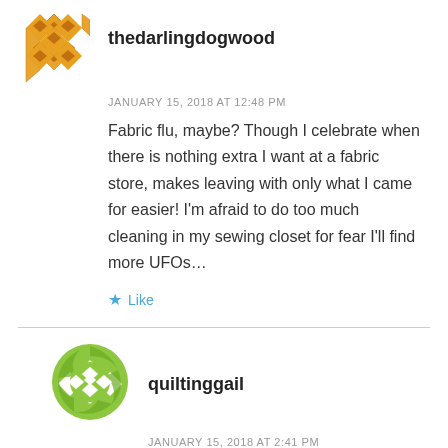[Figure (logo): Orange/gold quilted diamond pattern avatar for thedarlingdogwood]
thedarlingdogwood
JANUARY 15, 2018 AT 12:48 PM
Fabric flu, maybe? Though I celebrate when there is nothing extra I want at a fabric store, makes leaving with only what I came for easier! I'm afraid to do too much cleaning in my sewing closet for fear I'll find more UFOs…
Like
[Figure (logo): Green circular quilted diamond pattern avatar for quiltinggail]
quiltinggail
JANUARY 15, 2018 AT 2:41 PM